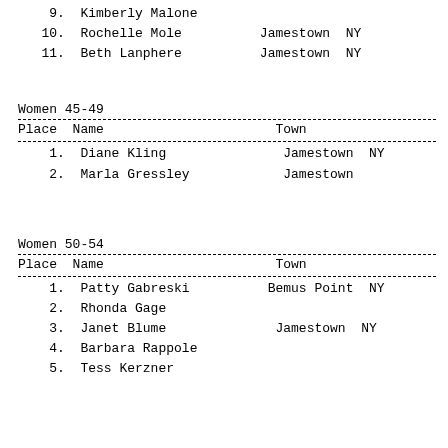9. Kimberly Malone
10. Rochelle Mole         Jamestown  NY
11. Beth Lanphere         Jamestown  NY
Women 45-49
| Place | Name | Town |
| --- | --- | --- |
| 1. | Diane Kling | Jamestown  NY |
| 2. | Marla Gressley | Jamestown |
Women 50-54
| Place | Name | Town |
| --- | --- | --- |
| 1. | Patty Gabreski | Bemus Point  NY |
| 2. | Rhonda Gage |  |
| 3. | Janet Blume | Jamestown  NY |
| 4. | Barbara Rappole |  |
| 5. | Tess Kerzner |  |